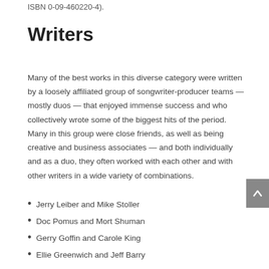ISBN 0-09-460220-4).
Writers
Many of the best works in this diverse category were written by a loosely affiliated group of songwriter-producer teams — mostly duos — that enjoyed immense success and who collectively wrote some of the biggest hits of the period. Many in this group were close friends, as well as being creative and business associates — and both individually and as a duo, they often worked with each other and with other writers in a wide variety of combinations.
Jerry Leiber and Mike Stoller
Doc Pomus and Mort Shuman
Gerry Goffin and Carole King
Ellie Greenwich and Jeff Barry